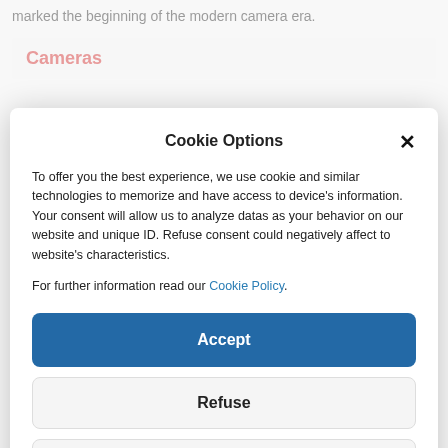marked the beginning of the modern camera era.
Cameras
Cookie Options
To offer you the best experience, we use cookie and similar technologies to memorize and have access to device's information. Your consent will allow us to analyze datas as your behavior on our website and unique ID. Refuse consent could negatively affect to website's characteristics.
For further information read our Cookie Policy.
Accept
Refuse
Preferences